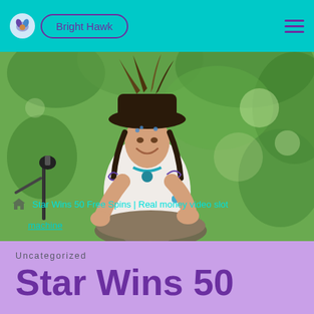Bright Hawk
[Figure (photo): Woman wearing a feathered hat and face paint, smiling and playing a hang drum outdoors among green trees. She wears a white sleeveless top, teal beaded necklace, and has tattoos on her arms.]
Star Wins 50 Free Spins | Real money video slot machine
Uncategorized
Star Wins 50